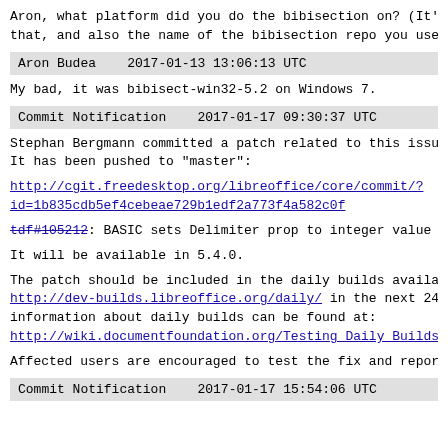Aron, what platform did you do the bibisection on?  (It'
that, and also the name of the bibisection repo you used
Aron Budea    2017-01-13 13:06:13 UTC
My bad, it was bibisect-win32-5.2 on Windows 7.
Commit Notification    2017-01-17 09:30:37 UTC
Stephan Bergmann committed a patch related to this issue
It has been pushed to "master":
http://cgit.freedesktop.org/libreoffice/core/commit/?
id=1b835cdb5ef4cebeae729b1edf2a773f4a582c0f
tdf#105212: BASIC sets Delimiter prop to integer value
It will be available in 5.4.0.
The patch should be included in the daily builds availab
http://dev-builds.libreoffice.org/daily/ in the next 24-
information about daily builds can be found at:
http://wiki.documentfoundation.org/Testing_Daily_Builds
Affected users are encouraged to test the fix and report
Commit Notification    2017-01-17 15:54:06 UTC